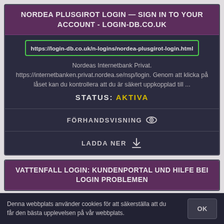NORDEA PLUSGIROT LOGIN — SIGN IN TO YOUR ACCOUNT - LOGIN-DB.CO.UK
https://login-db.co.uk/n-logins/nordea-plusgirot-login.html
Nordeas Internetbank Privat. https://internetbanken.privat.nordea.se/nsp/login. Genom att klicka på låset kan du kontrollera att du är säkert uppkopplad till ...
STATUS: AKTIVA
FÖRHANDSVISNING 👁
LADDA NER ⬇
VATTENFALL LOGIN: KUNDENPORTAL UND HILFE BEI LOGIN PROBLEMEN
Denna webbplats använder cookies för att säkerställa att du får den bästa upplevelsen på vår webbplats.